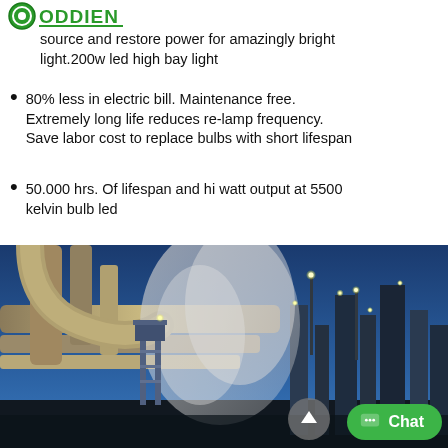[Figure (logo): Green logo with circular icon and bold text 'ODDIEN']
source and restore power for amazingly bright light.200w led high bay light
80% less in electric bill. Maintenance free. Extremely long life reduces re-lamp frequency. Save labor cost to replace bulbs with short lifespan
50.000 hrs. Of lifespan and hi watt output at 5500 kelvin bulb led
[Figure (photo): Industrial facility at dusk/night with pipes, steam, and bright lights against a blue sky]
Chat